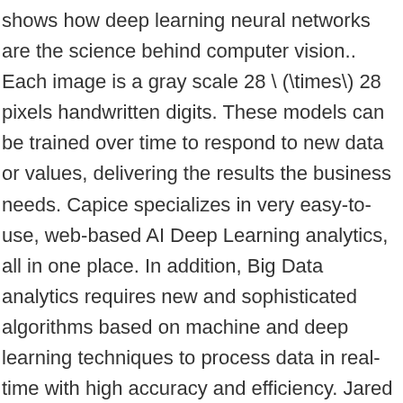shows how deep learning neural networks are the science behind computer vision.. Each image is a gray scale 28 \ (\times\) 28 pixels handwritten digits. These models can be trained over time to respond to new data or values, delivering the results the business needs. Capice specializes in very easy-to-use, web-based AI Deep Learning analytics, all in one place. In addition, Big Data analytics requires new and sophisticated algorithms based on machine and deep learning techniques to process data in real-time with high accuracy and efficiency. Jared Peterson, Senior Manager of SAS Advanced Analytics R&D, shows how deep learning neural networks are the science behind computer vision.. It is this buzz word that many have tried to define with varying success. But building a comprehensive data analysis and predictive analytics strategy